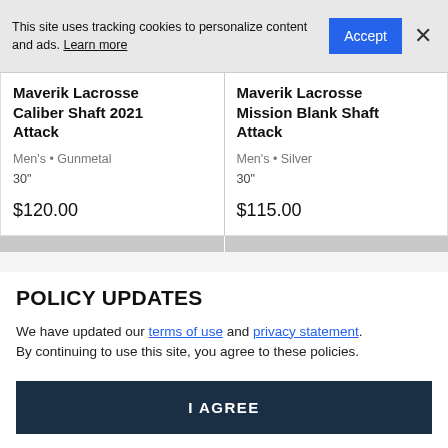This site uses tracking cookies to personalize content and ads. Learn more
Maverik Lacrosse Caliber Shaft 2021 Attack
Men's • Gunmetal
30"
$120.00
Maverik Lacrosse Mission Blank Shaft Attack
Men's • Silver
30"
$115.00
POLICY UPDATES
We have updated our terms of use and privacy statement. By continuing to use this site, you agree to these policies.
I AGREE